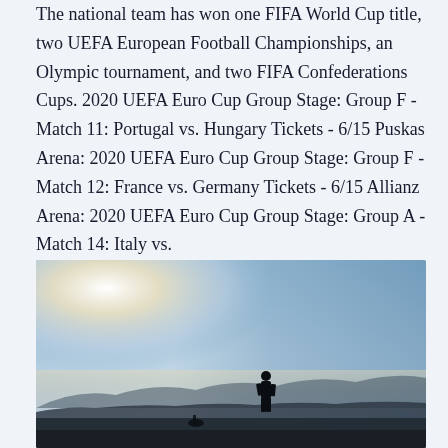The national team has won one FIFA World Cup title, two UEFA European Football Championships, an Olympic tournament, and two FIFA Confederations Cups. 2020 UEFA Euro Cup Group Stage: Group F - Match 11: Portugal vs. Hungary Tickets - 6/15 Puskas Arena: 2020 UEFA Euro Cup Group Stage: Group F - Match 12: France vs. Germany Tickets - 6/15 Allianz Arena: 2020 UEFA Euro Cup Group Stage: Group A - Match 14: Italy vs.
[Figure (photo): Outdoor photograph showing a silhouette of a person standing against a hazy sky with bright sunlight in the upper left, mountains or hills visible in the background at dusk or dawn.]